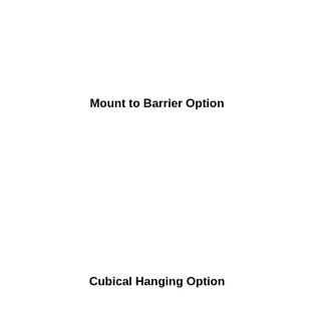Mount to Barrier Option
Cubical Hanging Option